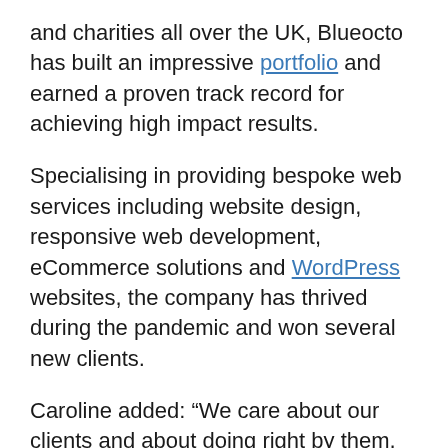and charities all over the UK, Blueocto has built an impressive portfolio and earned a proven track record for achieving high impact results.
Specialising in providing bespoke web services including website design, responsive web development, eCommerce solutions and WordPress websites, the company has thrived during the pandemic and won several new clients.
Caroline added: “We care about our clients and about doing right by them, their customers, and their business. We have grown significantly during the pandemic and can’t wait to see where our team takes us in the coming months. It’s an incredibly exciting time for us.”